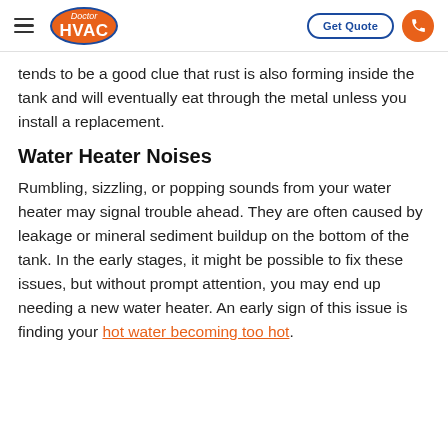Doctor HVAC | Get Quote
tends to be a good clue that rust is also forming inside the tank and will eventually eat through the metal unless you install a replacement.
Water Heater Noises
Rumbling, sizzling, or popping sounds from your water heater may signal trouble ahead. They are often caused by leakage or mineral sediment buildup on the bottom of the tank. In the early stages, it might be possible to fix these issues, but without prompt attention, you may end up needing a new water heater. An early sign of this issue is finding your hot water becoming too hot.